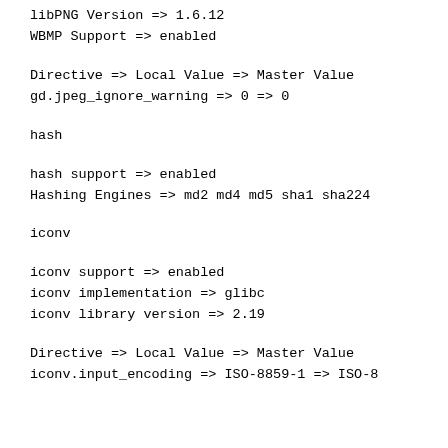libPNG Version => 1.6.12
WBMP Support => enabled
Directive => Local Value => Master Value
gd.jpeg_ignore_warning => 0 => 0
hash
hash support => enabled
Hashing Engines => md2 md4 md5 sha1 sha224
iconv
iconv support => enabled
iconv implementation => glibc
iconv library version => 2.19
Directive => Local Value => Master Value
iconv.input_encoding => ISO-8859-1 => ISO-8